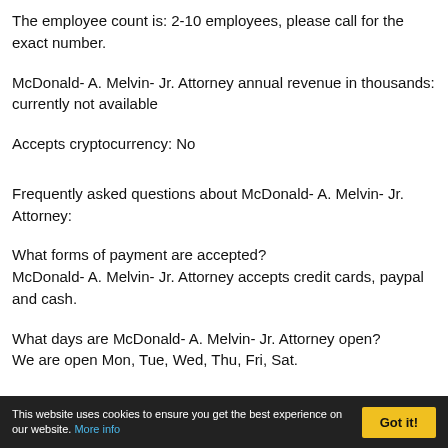The employee count is: 2-10 employees, please call for the exact number.
McDonald- A. Melvin- Jr. Attorney annual revenue in thousands: currently not available
Accepts cryptocurrency: No
Frequently asked questions about McDonald- A. Melvin- Jr. Attorney:
What forms of payment are accepted?
McDonald- A. Melvin- Jr. Attorney accepts credit cards, paypal and cash.
What days are McDonald- A. Melvin- Jr. Attorney open?
We are open Mon, Tue, Wed, Thu, Fri, Sat.
This website uses cookies to ensure you get the best experience on our website. More info
Got it!